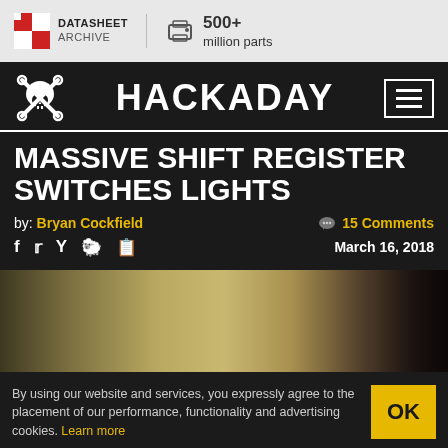DATASHEET ARCHIVE | 500+ million parts
HACKADAY
MASSIVE SHIFT REGISTER SWITCHES LIGHTS
by: Bryan Cockfield   15 Comments   March 16, 2018
[Figure (photo): Article header image showing a dimly lit room]
By using our website and services, you expressly agree to the placement of our performance, functionality and advertising cookies. Learn more